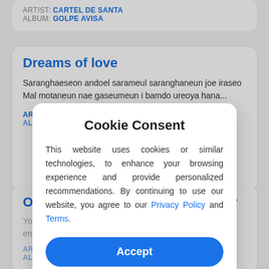ARTIST: CARTEL DE SANTA
ALBUM: GOLPE AVISA
Dreams of love
Saranghaeseon andoel sarameul saranghaneun joe iraseo Mal motaneun nae gaseumeun i bamdo ureoya hana...
ARTIST: JANG YOON JUNG
Once You've Learned to be Lonely
You do your best to give enough...
ARTIST: ...
ALBUM: MABELLENYOO...
Cookie Consent

This website uses cookies or similar technologies, to enhance your browsing experience and provide personalized recommendations. By continuing to use our website, you agree to our Privacy Policy and Terms.

Accept